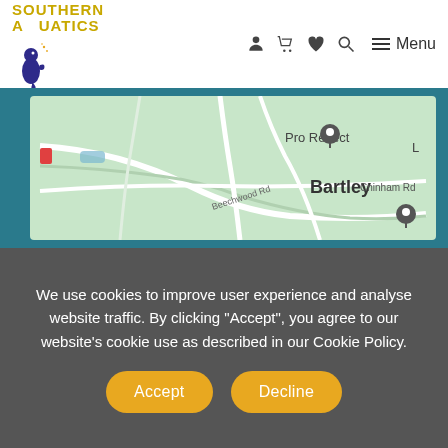[Figure (logo): Southern Aquatics logo with seahorse and yellow text]
[Figure (map): Google Maps view showing Bartley area with Pro Reflect marker, Beechwood Rd, Chinham Rd labels]
We use cookies to improve user experience and analyse website traffic. By clicking "Accept", you agree to our website's cookie use as described in our Cookie Policy.
[Figure (other): Accept and Decline cookie consent buttons]